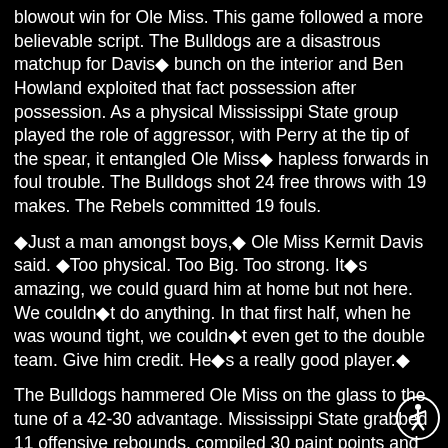blowout win for Ole Miss. This game followed a more believable script. The Bulldogs are a disastrous matchup for Davis■ bunch on the interior and Ben Howland exploited that fact possession after possession. As a physical Mississippi State group played the role of aggressor, with Perry at the tip of the spear, it entangled Ole Miss■ hapless forwards in foul trouble. The Bulldogs shot 24 free throws with 19 makes. The Rebels committed 19 fouls.
■Just a man amongst boys,■ Ole Miss Kermit Davis said. ■Too physical. Too Big. Too strong. It■s amazing, we could guard him at home but not here. We couldn■t do anything. In that first half, when he was wound tight, we couldn■t even get to the double team. Give him credit. He■s a really good player.■
The Bulldogs hammered Ole Miss on the glass to the tune of a 42-30 advantage. Mississippi State grabbed 11 offensive rebounds, compiled 30 paint points and 16 second-chance points. That, coupled with the way they defended Tyree, rendered Ole Miss completely helpless.
Tyree■s 11 points on 4-13 shooting was a far cry from his first game at Mississippi State■s...
[Figure (other): Accessibility icon (wheelchair user in circle) in bottom-right corner]